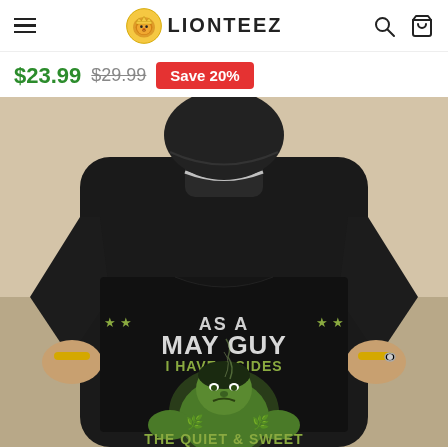LIONTEEZ — navigation header with hamburger menu, logo, search and cart icons
$23.99  $29.99  Save 20%
[Figure (photo): Person holding up a black t-shirt. The shirt reads: AS A MAY GUY I HAVE 3 SIDES  I HAVE 3 SIDES  THE QUIET & SWEET — with a Hulk graphic and star decorations on the shirt.]